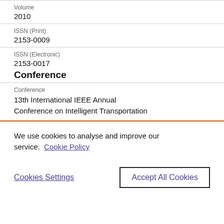Volume
2010
ISSN (Print)
2153-0009
ISSN (Electronic)
2153-0017
Conference
Conference
13th International IEEE Annual Conference on Intelligent Transportation
We use cookies to analyse and improve our service. Cookie Policy
Cookies Settings
Accept All Cookies